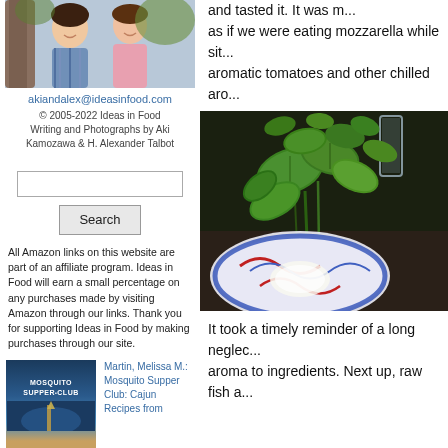[Figure (photo): Two people (Aki and Alex) smiling outdoors, photo on left sidebar]
akiandalex@ideasinfood.com
© 2005-2022 Ideas in Food Writing and Photographs by Aki Kamozawa & H. Alexander Talbot
[Figure (screenshot): Search input box]
Search
All Amazon links on this website are part of an affiliate program. Ideas in Food will earn a small percentage on any purchases made by visiting Amazon through our links. Thank you for supporting Ideas in Food by making purchases through our site.
[Figure (photo): Book cover: Mosquito Supper Club by Melissa M. Martin]
Martin, Melissa M.: Mosquito Supper Club: Cajun Recipes from
and tasted it. It was m... as if we were eating mozzarella while sit... aromatic tomatoes and other chilled aro...
[Figure (photo): Fresh basil herbs in a glass of water on a decorative blue and red plate, dark background]
It took a timely reminder of a long neglec... aroma to ingredients. Next up, raw fish a...